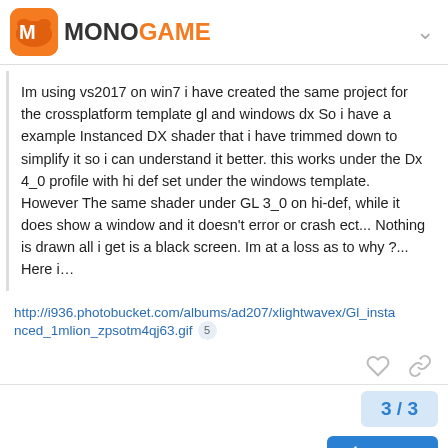MONOGAME
Im using vs2017 on win7 i have created the same project for the crossplatform template gl and windows dx So i have a example Instanced DX shader that i have trimmed down to simplify it so i can understand it better. this works under the Dx 4_0 profile with hi def set under the windows template. However The same shader under GL 3_0 on hi-def, while it does show a window and it doesn't error or crash ect... Nothing is drawn all i get is a black screen. Im at a loss as to why ?... Here i…
http://i936.photobucket.com/albums/ad207/xlightwavex/Gl_instanced_1mlion_zpsotm4qj63.gif 5
3 / 3
Reply